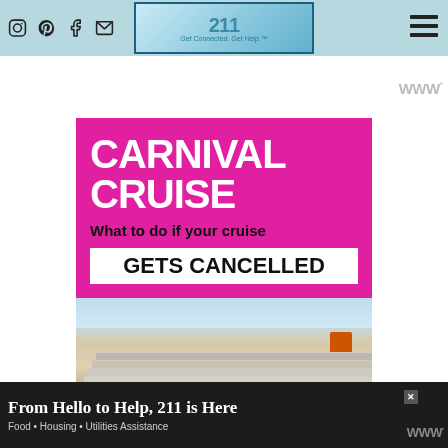Navigation bar with social icons (Instagram, Pinterest, Facebook, Email) and hamburger menu
[Figure (screenshot): Website header with 211 logo and 'Get Connected. Get Help.' tagline on teal/light blue background, with social media icons and hamburger menu]
[Figure (infographic): Carnival Cruise infographic on magenta/pink background: large white bold text 'CARNIVAL CRUISE', black bold text 'What to do if your cruise', white box with bold black text 'GETS CANCELLED', followed by photo of a cruise ship]
[Figure (photo): Photo of a large cruise ship showing upper decks and hull, with orange funnels marked 'CARN']
From Hello to Help, 211 is Here | Food • Housing • Utilities Assistance